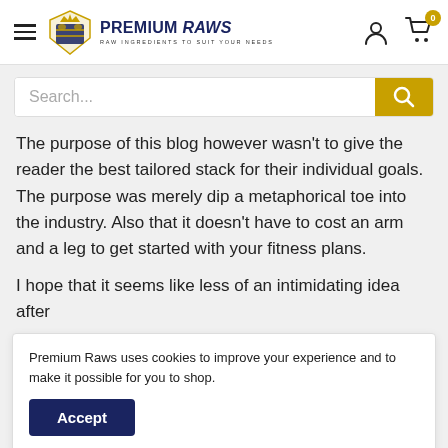[Figure (logo): Premium Raws logo with golden crest/shield emblem, navy blue text reading PREMIUM RAWS, tagline RAW INGREDIENTS TO SUIT YOUR NEEDS]
[Figure (screenshot): Search bar with Search... placeholder text and a gold search button icon on the right]
The purpose of this blog however wasn't to give the reader the best tailored stack for their individual goals. The purpose was merely dip a metaphorical toe into the industry. Also that it doesn't have to cost an arm and a leg to get started with your fitness plans.
I hope that it seems like less of an intimidating idea after
Premium Raws uses cookies to improve your experience and to make it possible for you to shop.
Accept
to help you achieve your goals. Supplements  are not be solely